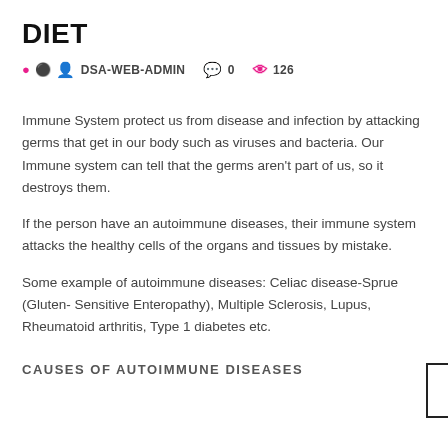DIET
DSA-WEB-ADMIN  0  126
Immune System protect us from disease and infection by attacking germs that get in our body such as viruses and bacteria. Our Immune system can tell that the germs aren’t part of us, so it destroys them.
If the person have an autoimmune diseases, their immune system attacks the healthy cells of the organs and tissues by mistake.
Some example of autoimmune diseases: Celiac disease-Sprue (Gluten- Sensitive Enteropathy), Multiple Sclerosis, Lupus, Rheumatoid arthritis, Type 1 diabetes etc.
CAUSES OF AUTOIMMUNE DISEASES